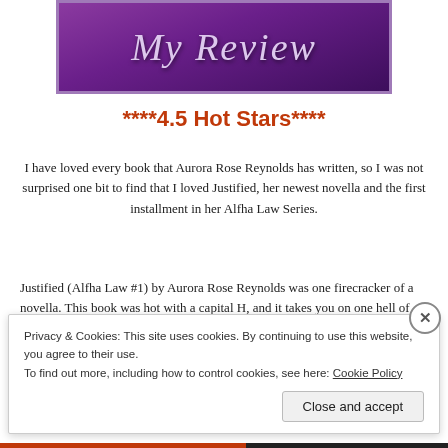[Figure (illustration): Purple gradient banner with cursive italic text 'My Review' in light lavender color]
****4.5 Hot Stars****
I have loved every book that Aurora Rose Reynolds has written, so I was not surprised one bit to find that I loved Justified, her newest novella and the first installment in her Alfha Law Series.
Justified (Alfha Law #1) by Aurora Rose Reynolds was one firecracker of a novella. This book was hot with a capital H, and it takes you on one hell of a ride...
Privacy & Cookies: This site uses cookies. By continuing to use this website, you agree to their use.
To find out more, including how to control cookies, see here: Cookie Policy